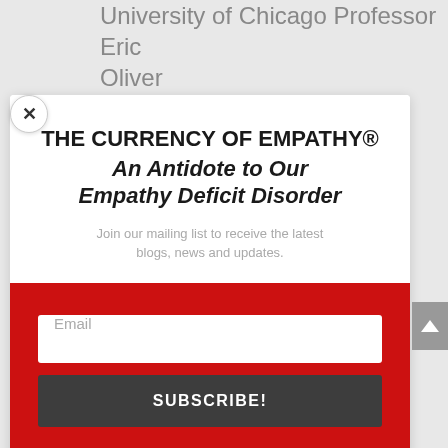University of Chicago Professor Eric Oliver
[Figure (screenshot): Modal popup with close (X) button, title 'THE CURRENCY OF EMPATHY® An Antidote to Our Empathy Deficit Disorder', mailing list signup text, email input field, and SUBSCRIBE! button on red background]
THE CURRENCY OF EMPATHY®
An Antidote to Our Empathy Deficit Disorder
Join our mailing list to receive the latest blogs, news and updates.
Email
SUBSCRIBE!